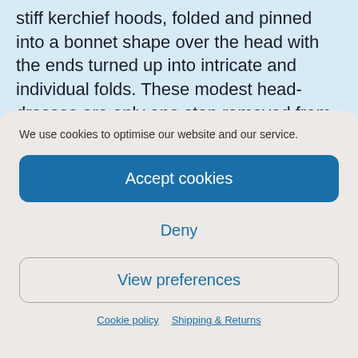stiff kerchief hoods, folded and pinned into a bonnet shape over the head with the ends turned up into intricate and individual folds. These modest head-dresses are only one step removed from those of the women painted by Memling in 1490 and served as a good, decent veil for nuns. The skirt was turned back to protect the front from
We use cookies to optimise our website and our service.
Accept cookies
Deny
View preferences
Cookie policy   Shipping & Returns